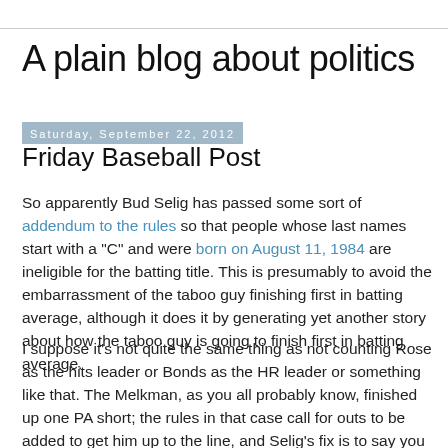A plain blog about politics
Saturday, September 22, 2012
Friday Baseball Post
So apparently Bud Selig has passed some sort of addendum to the rules so that people whose last names start with a "C" and were born on August 11, 1984 are ineligible for the batting title. This is presumably to avoid the embarrassment of the taboo guy finishing first in batting average, although it does it by generating yet another story about how the taboo guy is going to finish first in batting average.
I suppose it's not quite the same thing as not counting Rose as the hits leader or Bonds as the HR leader or something like that. The Melkman, as you all probably know, finished up one PA short; the rules in that case call for outs to be added to get him up to the line, and Selig's fix is to say you can't do that in this case.